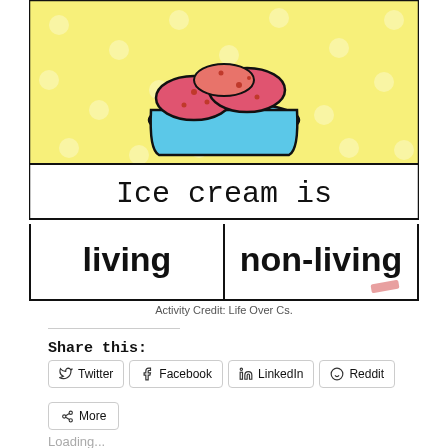[Figure (illustration): Educational card showing an ice cream sundae in a blue bowl on a yellow polka-dot background, with text 'Ice cream is' and two choice options: 'living' on the left and 'non-living' on the right, separated by a vertical line.]
Activity Credit: Life Over Cs.
Share this:
Twitter
Facebook
LinkedIn
Reddit
More
Loading...
Related